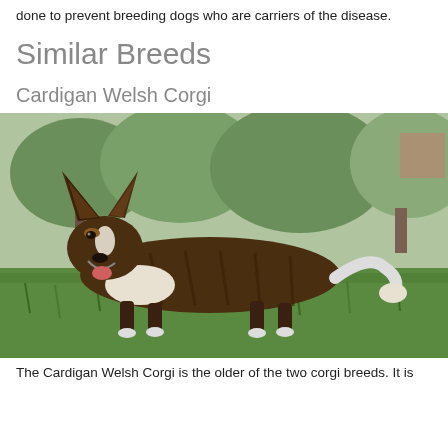done to prevent breeding dogs who are carriers of the disease.
Similar Breeds
Cardigan Welsh Corgi
[Figure (photo): A brindle and white Cardigan Welsh Corgi standing on grass, facing left with mouth open, large upright ears, long low body with a tail, green trees in background.]
The Cardigan Welsh Corgi is the older of the two corgi breeds. It is